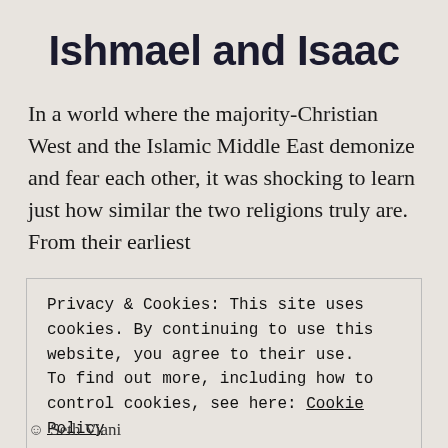Ishmael and Isaac
In a world where the majority-Christian West and the Islamic Middle East demonize and fear each other, it was shocking to learn just how similar the two religions truly are. From their earliest
Privacy & Cookies: This site uses cookies. By continuing to use this website, you agree to their use.
To find out more, including how to control cookies, see here: Cookie Policy

Close and accept
Seth Viani